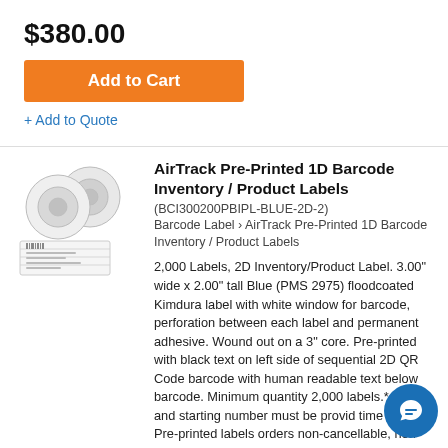$380.00
Add to Cart
+ Add to Quote
[Figure (photo): Rolls of pre-printed barcode labels on white background]
AirTrack Pre-Printed 1D Barcode Inventory / Product Labels
(BCI300200PBIPL-BLUE-2D-2)
Barcode Label › AirTrack Pre-Printed 1D Barcode Inventory / Product Labels
2,000 Labels, 2D Inventory/Product Label. 3.00" wide x 2.00" tall Blue (PMS 2975) floodcoated Kimdura label with white window for barcode, perforation between each label and permanent adhesive. Wound out on a 3" core. Pre-printed with black text on left side of sequential 2D QR Code barcode with human readable text below barcode. Minimum quantity 2,000 labels.*All text and starting number must be provided time of order. Pre-printed labels orders non-cancellable, non-returnable and shipped actual shipping costs. An 8-15 day lead time is